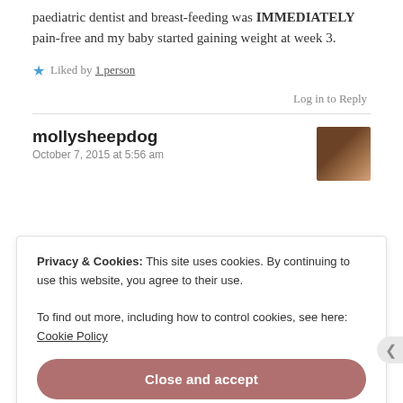paediatric dentist and breast-feeding was IMMEDIATELY pain-free and my baby started gaining weight at week 3.
Liked by 1 person
Log in to Reply
mollysheepdog
October 7, 2015 at 5:56 am
[Figure (photo): Small avatar photo of commenter mollysheepdog showing a person holding a baby]
Privacy & Cookies: This site uses cookies. By continuing to use this website, you agree to their use.
To find out more, including how to control cookies, see here: Cookie Policy
Close and accept